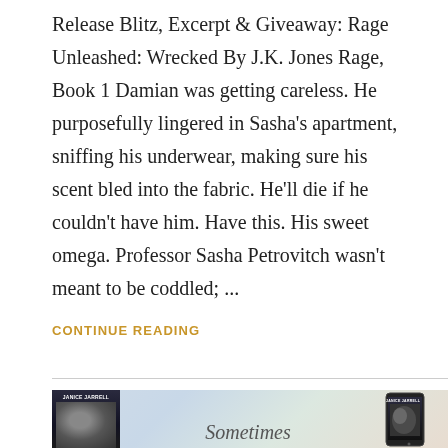Release Blitz, Excerpt & Giveaway: Rage Unleashed: Wrecked By J.K. Jones Rage, Book 1 Damian was getting careless. He purposefully lingered in Sasha's apartment, sniffing his underwear, making sure his scent bled into the fabric. He'll die if he couldn't have him. Have this. His sweet omega. Professor Sasha Petrovitch wasn't meant to be coddled; ...
CONTINUE READING
[Figure (photo): Book cover and phone mockup image for a Janice Jarrell romance novel titled 'Sometimes', showing two figures embracing on a dark background, displayed as both a physical book cover and a phone screen.]